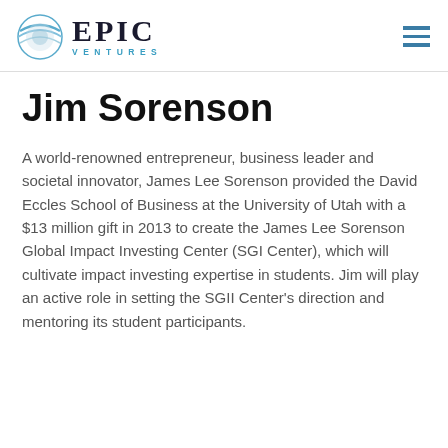EPIC VENTURES
Jim Sorenson
A world-renowned entrepreneur, business leader and societal innovator, James Lee Sorenson provided the David Eccles School of Business at the University of Utah with a $13 million gift in 2013 to create the James Lee Sorenson Global Impact Investing Center (SGI Center), which will cultivate impact investing expertise in students. Jim will play an active role in setting the SGII Center's direction and mentoring its student participants.